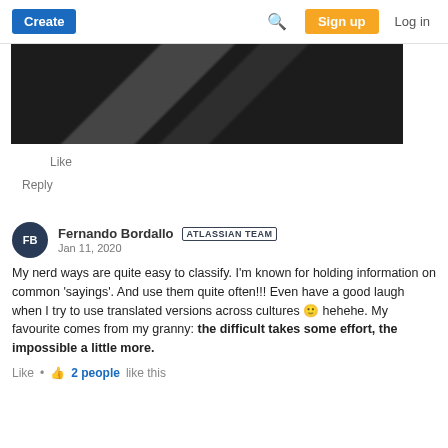Create  [search]  Sign up  Log in
[Figure (photo): Partial photo showing dark objects, appears to be a cropped image of a person or equipment in black tones with some white/light diagonal shapes]
Like
Reply
Fernando Bordallo  ATLASSIAN TEAM
Jan 11, 2020
My nerd ways are quite easy to classify. I'm known for holding information on common 'sayings'. And use them quite often!!! Even have a good laugh when I try to use translated versions across cultures 🙂 hehehe. My favourite comes from my granny: the difficult takes some effort, the impossible a little more.
Like  •  👍 2 people like this